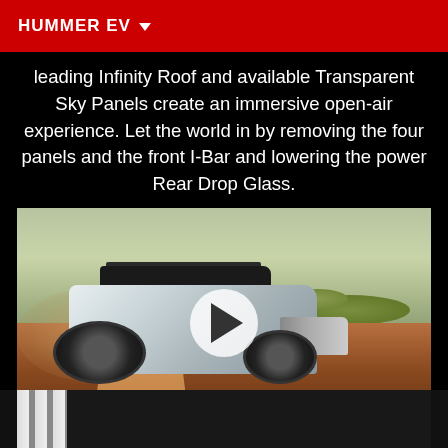HUMMER EV
leading Infinity Roof and available Transparent Sky Panels create an immersive open-air experience. Let the world in by removing the four panels and the front I-Bar and lowering the power Rear Drop Glass.
[Figure (screenshot): Video thumbnail showing a GMC Hummer EV pickup truck driving on a desert dirt road with open infinity roof panels, with a white circular play button overlay in the center.]